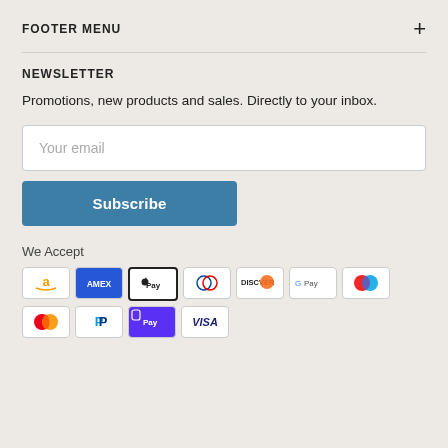FOOTER MENU
NEWSLETTER
Promotions, new products and sales. Directly to your inbox.
Your email
Subscribe
We Accept
[Figure (infographic): Payment method icons: Amazon, Amex, Apple Pay, Diners Club, Discover, Google Pay, Maestro, Mastercard, PayPal, Apple Pay/Shop Pay, Visa]